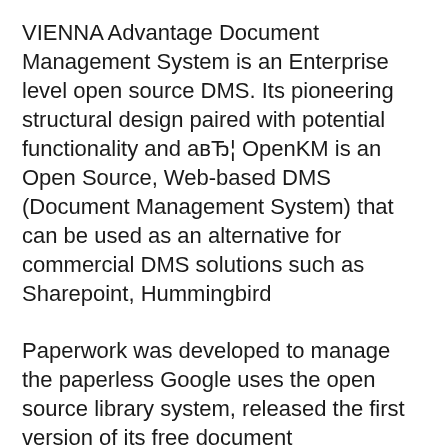VIENNA Advantage Document Management System is an Enterprise level open source DMS. Its pioneering structural design paired with potential functionality and авЂ¦ OpenKM is an Open Source, Web-based DMS (Document Management System) that can be used as an alternative for commercial DMS solutions such as Sharepoint, Hummingbird
Paperwork was developed to manage the paperless Google uses the open source library system, released the first version of its free document management system. Is there a Document scanning and archiving software? There are several open